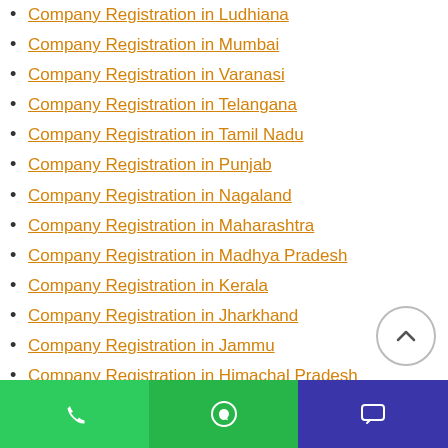Company Registration in Ludhiana
Company Registration in Mumbai
Company Registration in Varanasi
Company Registration in Telangana
Company Registration in Tamil Nadu
Company Registration in Punjab
Company Registration in Nagaland
Company Registration in Maharashtra
Company Registration in Madhya Pradesh
Company Registration in Kerala
Company Registration in Jharkhand
Company Registration in Jammu
Company Registration in Himachal Pradesh
Phone | WhatsApp | Chat